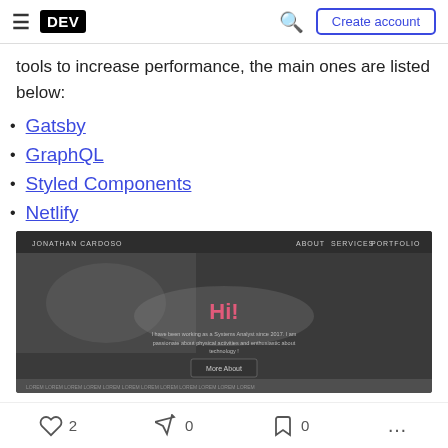DEV | Create account
tools to increase performance, the main ones are listed below:
Gatsby
GraphQL
Styled Components
Netlify
[Figure (screenshot): Screenshot of Jonathan Cardoso's personal website showing a dark-themed portfolio page with 'Hi!' heading in pink and 'More About' button]
2  0  0  ...